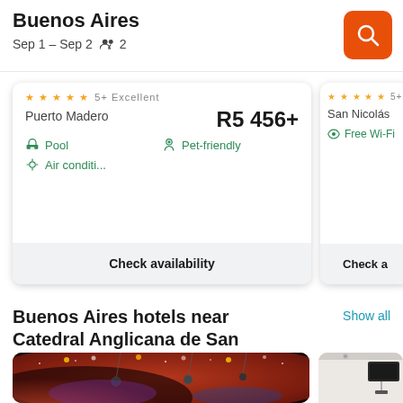Buenos Aires — Sep 1 – Sep 2 — 2 guests
★★★★★ 5+ Excellent | Puerto Madero | R5 456+ | Pool | Pet-friendly | Air conditi... | Check availability
★★★★★ 5+ | San Nicolás | Free Wi-Fi | Check a...
Buenos Aires hotels near Catedral Anglicana de San Juan Bautista
Show all
[Figure (photo): Hotel event space with red ambient lighting and stage lighting equipment]
[Figure (photo): Hotel interior room with white walls and ceiling mounted speaker]